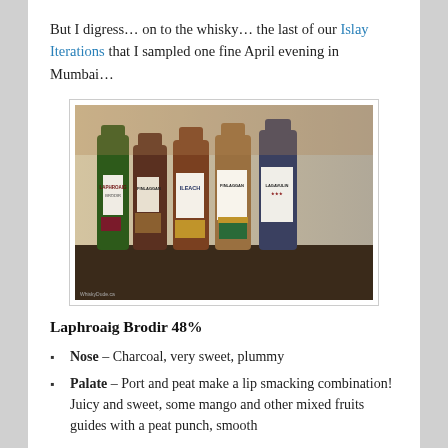But I digress… on to the whisky… the last of our Islay Iterations that I sampled one fine April evening in Mumbai…
[Figure (photo): A row of five whisky bottles on a dark surface: Laphroaig Brodir, Finlaggan (red), Ileach, Finlaggan (green), and Lagavulin, photographed against a light background.]
Laphroaig Brodir 48%
Nose – Charcoal, very sweet, plummy
Palate – Port and peat make a lip smacking combination! Juicy and sweet, some mango and other mixed fruits guides with a peat punch, smooth